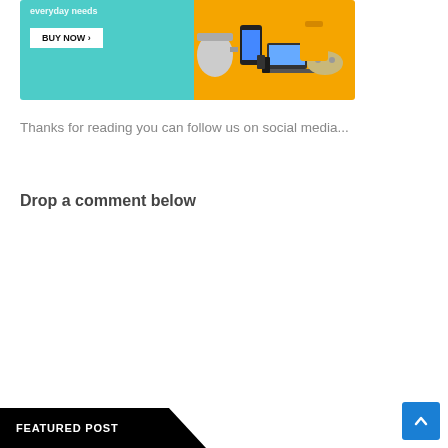[Figure (photo): Advertisement banner with teal and orange background showing electronics (kettle, phone, laptop, gamepad, perfume bottles) and a BUY NOW button]
Thanks for reading you can follow us on social media...
Drop a comment below
FEATURED POST
[Figure (other): Scroll-to-top button (blue square with upward chevron)]